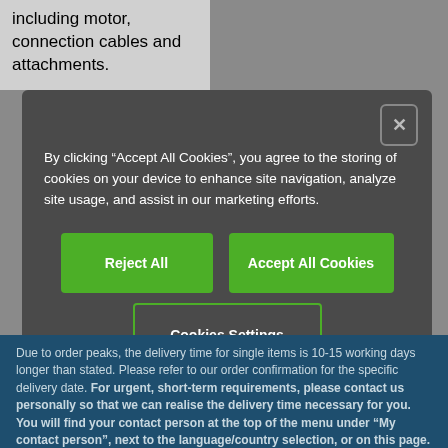including motor, connection cables and attachments.
By clicking “Accept All Cookies”, you agree to the storing of cookies on your device to enhance site navigation, analyze site usage, and assist in our marketing efforts.
Reject All
Accept All Cookies
Cookies Settings
Due to order peaks, the delivery time for single items is 10-15 working days longer than stated. Please refer to our order confirmation for the specific delivery date. For urgent, short-term requirements, please contact us personally so that we can realise the delivery time necessary for you. You will find your contact person at the top of the menu under “My contact person”, next to the language/country selection, or on this page.